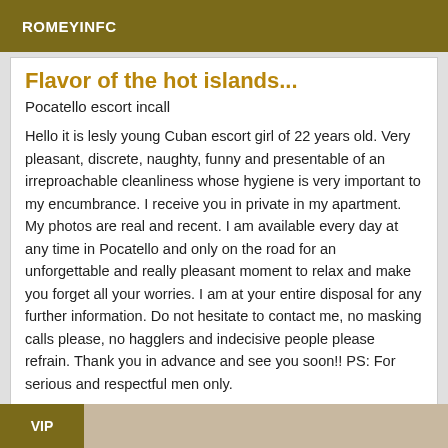ROMEYINFC
Flavor of the hot islands...
Pocatello escort incall
Hello it is lesly young Cuban escort girl of 22 years old. Very pleasant, discrete, naughty, funny and presentable of an irreproachable cleanliness whose hygiene is very important to my encumbrance. I receive you in private in my apartment. My photos are real and recent. I am available every day at any time in Pocatello and only on the road for an unforgettable and really pleasant moment to relax and make you forget all your worries. I am at your entire disposal for any further information. Do not hesitate to contact me, no masking calls please, no hagglers and indecisive people please refrain. Thank you in advance and see you soon!! PS: For serious and respectful men only.
VIP